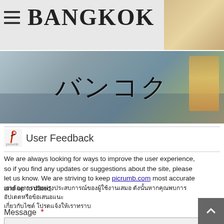BANGKOK
[Figure (photo): Bangkok city skyline banner with Japanese text バンコク overlaid, golden Buddha visible on right]
User Feedback
We are always looking for ways to improve the user experience, so if you find any updates or suggestions about the site, please let us know. We are striving to keep picrumb.com most accurate and up to dated.
Thai language text block
Message *